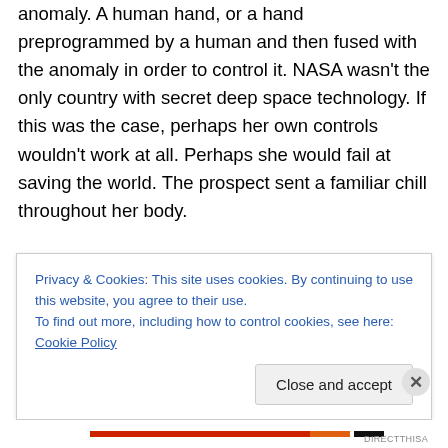anomaly. A human hand, or a hand preprogrammed by a human and then fused with the anomaly in order to control it. NASA wasn't the only country with secret deep space technology. If this was the case, perhaps her own controls wouldn't work at all. Perhaps she would fail at saving the world. The prospect sent a familiar chill throughout her body.
The beeping resumed again. This time to indicate that the anomaly was approaching the end of the safe zone. She had to do something now or there was no guarantee of a
Privacy & Cookies: This site uses cookies. By continuing to use this website, you agree to their use.
To find out more, including how to control cookies, see here: Cookie Policy
Close and accept
DIRECTTHISA